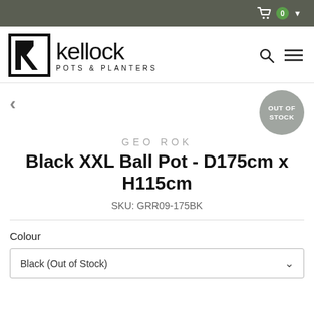Kellock Pots & Planters – navigation bar with cart icon showing 0 items
[Figure (logo): Kellock Pots & Planters logo with stylized K icon and text 'kellock POTS & PLANTERS']
GEO ROK
Black XXL Ball Pot - D175cm x H115cm
SKU: GRR09-175BK
Colour
Black (Out of Stock)